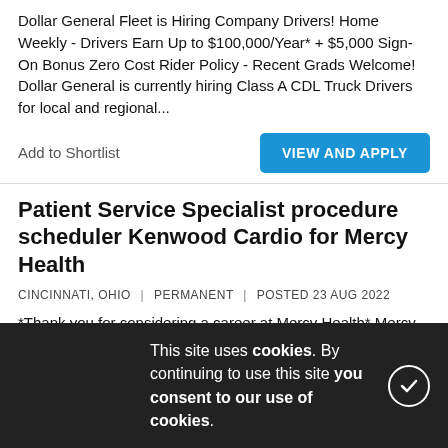Dollar General Fleet is Hiring Company Drivers! Home Weekly - Drivers Earn Up to $100,000/Year* + $5,000 Sign-On Bonus Zero Cost Rider Policy - Recent Grads Welcome! Dollar General is currently hiring Class A CDL Truck Drivers for local and regional...
Add to Shortlist
VIEW AND APPLY
Patient Service Specialist procedure scheduler Kenwood Cardio for Mercy Health
CINCINNATI, OHIO | PERMANENT | POSTED 23 AUG 2022
*Thank you for considering a career at Mercy Health*.Mercy Health*._About Us_* As a faith-based and patient-focused organization, Mercy Health exists to enhance the health and well-being of all people in mind, body and spirit through exceptional patient...
Add to
This site uses cookies. By continuing to use this site you consent to our use of cookies.